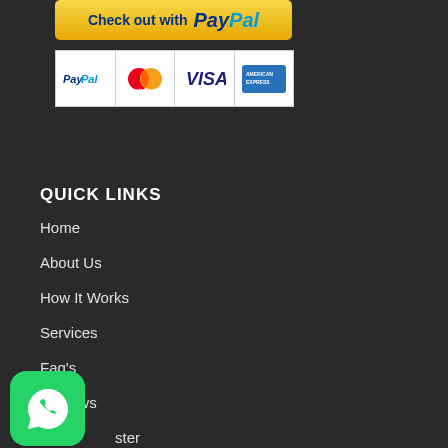[Figure (logo): PayPal checkout button with yellow/gold gradient background reading 'Check out with PayPal']
[Figure (logo): Payment method logos: PayPal, MasterCard, Visa, American Express]
QUICK LINKS
Home
About Us
How It Works
Services
Faq's
Reviews
Register
Log In
[Figure (logo): WhatsApp icon - green rounded square with white phone handset inside speech bubble]